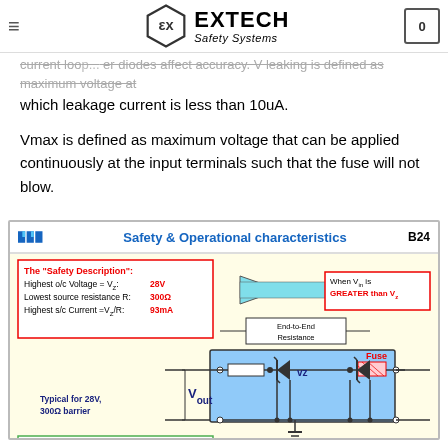EXTECH Safety Systems
current loop... er diodes affect accuracy. V leaking is defined as maximum voltage at which leakage current is less than 10uA.
Vmax is defined as maximum voltage that can be applied continuously at the input terminals such that the fuse will not blow.
[Figure (engineering-diagram): MTL Safety & Operational characteristics diagram B24 showing Zener barrier circuit with safety description box (Highest o/c Voltage = V2: 28V, Lowest source resistance R: 300Ω, Highest s/c Current = V2/R: 93mA), End-to-End Resistance label, Fuse, Vz components, Vout label, and arrow indicating when Vin is GREATER than V2. Typical for 28V, 300Ω barrier. Operational Characteristics section at bottom.]